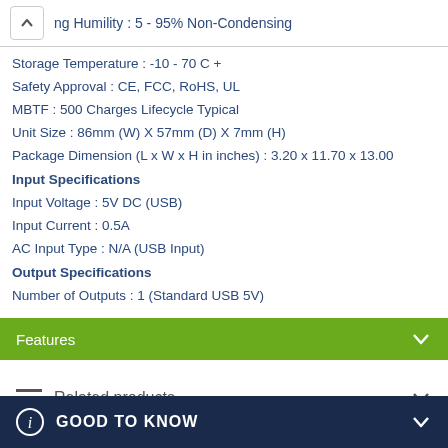ng Humility : 5 - 95% Non-Condensing
Storage Temperature : -10 - 70 C +
Safety Approval : CE, FCC, RoHS, UL
MBTF : 500 Charges Lifecycle Typical
Unit Size : 86mm (W) X 57mm (D) X 7mm (H)
Package Dimension (L x W x H in inches) : 3.20 x 11.70 x 13.00
Input Specifications
Input Voltage : 5V DC (USB)
Input Current : 0.5A
AC Input Type : N/A (USB Input)
Output Specifications
Number of Outputs : 1 (Standard USB 5V)
Features
Related products
New Arrivals
GOOD TO KNOW